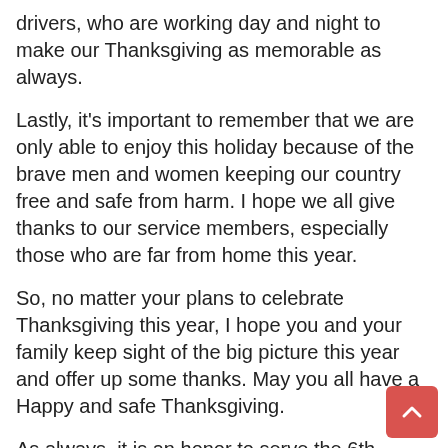drivers, who are working day and night to make our Thanksgiving as memorable as always.
Lastly, it's important to remember that we are only able to enjoy this holiday because of the brave men and women keeping our country free and safe from harm. I hope we all give thanks to our service members, especially those who are far from home this year.
So, no matter your plans to celebrate Thanksgiving this year, I hope you and your family keep sight of the big picture this year and offer up some thanks. May you all have a Happy and safe Thanksgiving.
As always, it is an honor to serve the 6th Senatorial District. If my office can be service to you, please feel free to contact us at (573) 751-2076. For information about my committee assignments or sponsored legislation, please visit my official Missouri Senate website at senate.mo.gov/Bernskoetter.